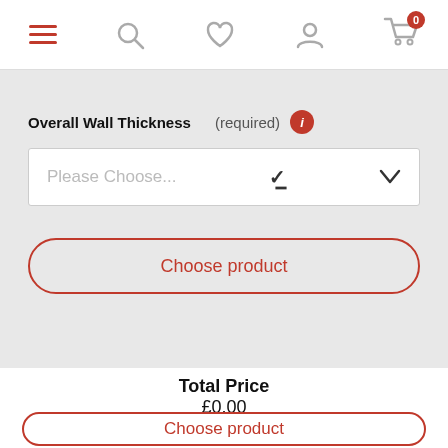Navigation header with hamburger menu, search, heart/wishlist, user account, and cart (0 items)
Overall Wall Thickness (required)
Please Choose...
Choose product
Total Price
£0.00
Choose product